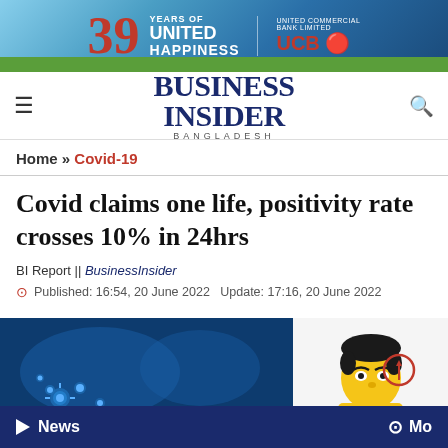[Figure (illustration): UCB Bank advertisement banner: 39 Years of United Happiness with UCB logo, colorful banner with landscape elements]
BUSINESS INSIDER BANGLADESH
Home » Covid-19
Covid claims one life, positivity rate crosses 10% in 24hrs
BI Report || BusinessInsider
Published: 16:54, 20 June 2022   Update: 17:16, 20 June 2022
[Figure (photo): Article image split in two: left side shows dark blue COVID-19 virus illustration, right side shows cartoon illustration of a person with a red circle highlight on their head]
News   Mo